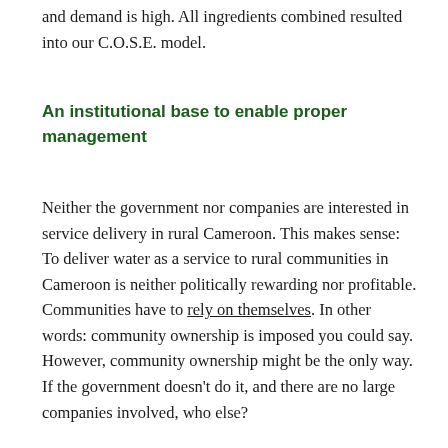and demand is high. All ingredients combined resulted into our C.O.S.E. model.
An institutional base to enable proper management
Neither the government nor companies are interested in service delivery in rural Cameroon. This makes sense: To deliver water as a service to rural communities in Cameroon is neither politically rewarding nor profitable. Communities have to rely on themselves. In other words: community ownership is imposed you could say. However, community ownership might be the only way. If the government doesn't do it, and there are no large companies involved, who else?